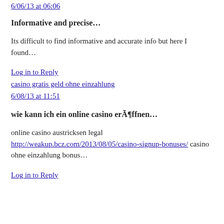6/06/13 at 06:06
Informative and precise…
Its difficult to find informative and accurate info but here I found…
Log in to Reply
casino gratis geld ohne einzahlung
6/08/13 at 11:51
wie kann ich ein online casino erÃ¶ffnen…
online casino austricksen legal http://weakup.bcz.com/2013/08/05/casino-signup-bonuses/ casino ohne einzahlung bonus…
Log in to Reply